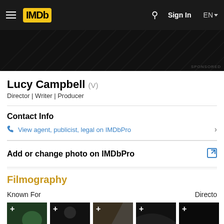IMDb — Sign In EN
[Figure (screenshot): Dark banner/advertisement area with diagonal lines pattern and SPONSORED label]
Lucy Campbell (V)
Director | Writer | Producer
Contact Info
View agent, publicist, legal on IMDbPro
Add or change photo on IMDbPro
Filmography
Known For
Directo